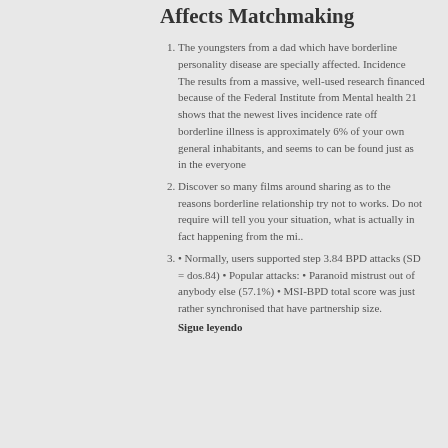Affects Matchmaking
The youngsters from a dad which have borderline personality disease are specially affected. Incidence The results from a massive, well-used research financed because of the Federal Institute from Mental health 21 shows that the newest lives incidence rate off borderline illness is approximately 6% of your own general inhabitants, and seems to can be found just as in the everyone
Discover so many films around sharing as to the reasons borderline relationship try not to works. Do not require will tell you your situation, what is actually in fact happening from the mi..
• Normally, users supported step 3.84 BPD attacks (SD = dos.84) • Popular attacks: • Paranoid mistrust out of anybody else (57.1%) • MSI-BPD total score was just rather synchronised that have partnership size.
Sigue leyendo